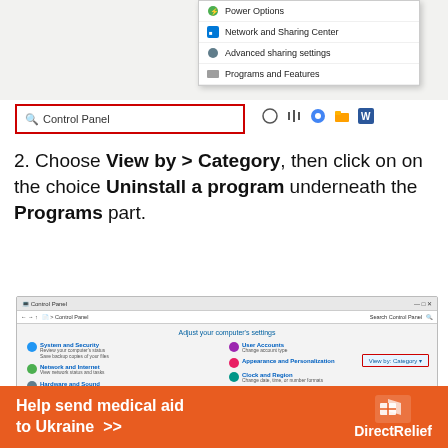[Figure (screenshot): Windows taskbar context menu showing Power Options, Network and Sharing Center, Advanced sharing settings, Programs and Features. Search bar with 'Control Panel' typed, highlighted with red box. Taskbar icons visible.]
2. Choose View by > Category, then click on on the choice Uninstall a program underneath the Programs part.
[Figure (screenshot): Windows Control Panel screenshot showing 'Adjust your computer's settings' with View by Category highlighted in red box. Categories listed include System and Security, Network and Internet, Hardware and Sound, Programs (with Uninstall a program in red box), User Accounts, Appearance and Personalization, Clock and Region, Ease of Access.]
[Figure (infographic): Orange advertisement banner: 'Help send medical aid to Ukraine >>' with DirectRelief logo on right.]